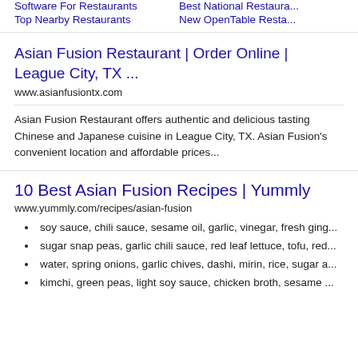Software For Restaurants
Best National Restaura...
Top Nearby Restaurants
New OpenTable Resta...
Asian Fusion Restaurant | Order Online | League City, TX ...
www.asianfusiontx.com
Asian Fusion Restaurant offers authentic and delicious tasting Chinese and Japanese cuisine in League City, TX. Asian Fusion's convenient location and affordable prices...
10 Best Asian Fusion Recipes | Yummly
www.yummly.com/recipes/asian-fusion
soy sauce, chili sauce, sesame oil, garlic, vinegar, fresh ging...
sugar snap peas, garlic chili sauce, red leaf lettuce, tofu, red...
water, spring onions, garlic chives, dashi, mirin, rice, sugar a...
kimchi, green peas, light soy sauce, chicken broth, sesame ...